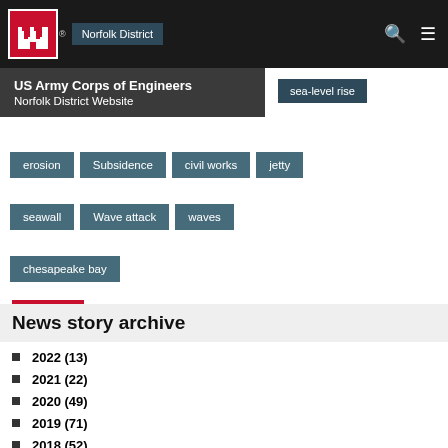US Army Corps of Engineers Norfolk District Website - Norfolk District
erosion
Subsidence
civil works
jetty
seawall
Wave attack
waves
chesapeake bay
News story archive
2022 (13)
2021 (22)
2020 (49)
2019 (71)
2018 (52)
2017 (25)